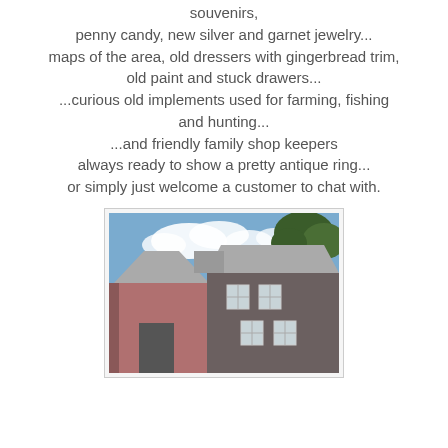souvenirs,
penny candy, new silver and garnet jewelry...
maps of the area, old dressers with gingerbread trim,
old paint and stuck drawers...
...curious old implements used for farming, fishing
and hunting...
...and friendly family shop keepers
always ready to show a pretty antique ring...
or simply just welcome a customer to chat with.
[Figure (photo): Exterior photo of two adjacent wooden building structures — one reddish-pink barn-like building on the left and a darker two-story house on the right — set against a partly cloudy blue sky with trees in the background.]